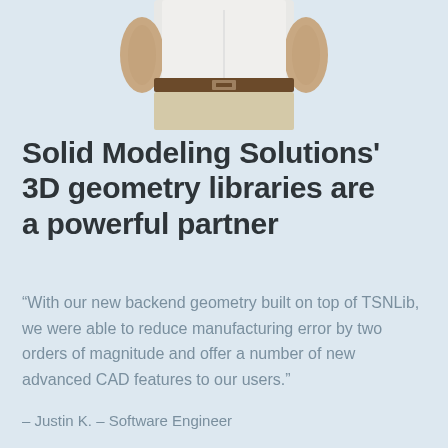[Figure (photo): Partial view of a person from the waist down, wearing a white shirt, brown belt, and khaki pants, hands on hips, cropped at the torso.]
Solid Modeling Solutions' 3D geometry libraries are a powerful partner
“With our new backend geometry built on top of TSNLib, we were able to reduce manufacturing error by two orders of magnitude and offer a number of new advanced CAD features to our users.”
– Justin K. – Software Engineer